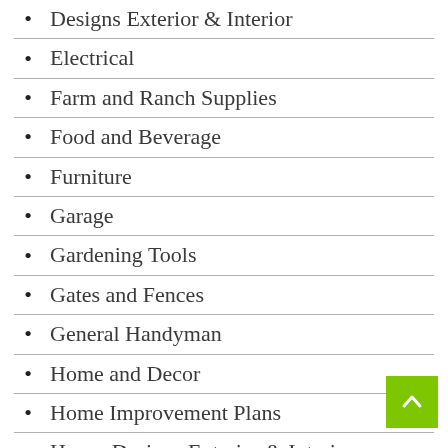Designs Exterior & Interior
Electrical
Farm and Ranch Supplies
Food and Beverage
Furniture
Garage
Gardening Tools
Gates and Fences
General Handyman
Home and Decor
Home Improvement Plans
House Designs Exterior & Interior
House Styles
Hydroponic Gardening